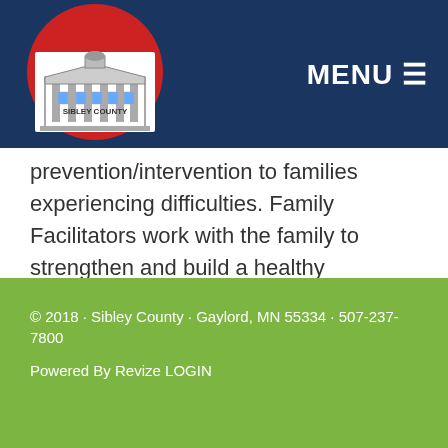MENU
[Figure (logo): Sibley County logo with red circle, Minnesota state outline, and courthouse building illustration]
prevention/intervention to families experiencing difficulties. Family Facilitators work with the family to strengthen and build a healthy family structure so the child(ren) can be successful in their home, school and community.
© 2018 · Sibley County · Gaylord, MN 55334 · 507-237-7800
Powered By Revize LOGIN